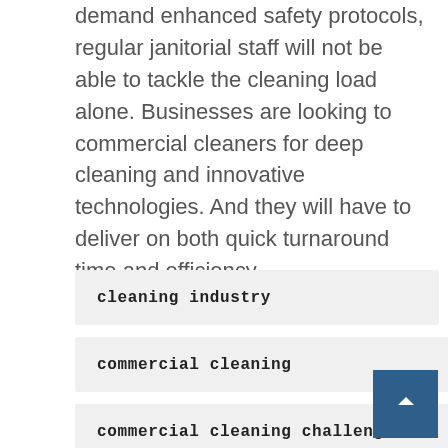demand enhanced safety protocols, regular janitorial staff will not be able to tackle the cleaning load alone. Businesses are looking to commercial cleaners for deep cleaning and innovative technologies. And they will have to deliver on both quick turnaround time and efficiency.
cleaning industry
commercial cleaning
commercial cleaning challenges